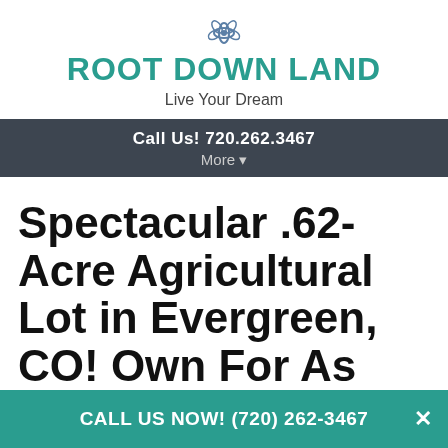ROOT DOWN LAND
Live Your Dream
Call Us! 720.262.3467
More ▾
Spectacular .62-Acre Agricultural Lot in Evergreen, CO! Own For As Low As $3,500 Down.
CALL US NOW! (720) 262-3467